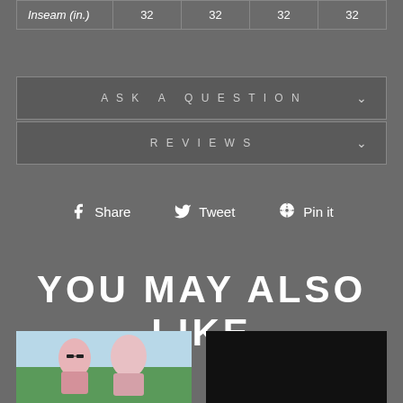| Inseam (in.) | 32 | 32 | 32 | 32 |
ASK A QUESTION
REVIEWS
Share  Tweet  Pin it
YOU MAY ALSO LIKE
[Figure (photo): Two women in pink outerwear outdoors]
[Figure (photo): Dark/black product image]